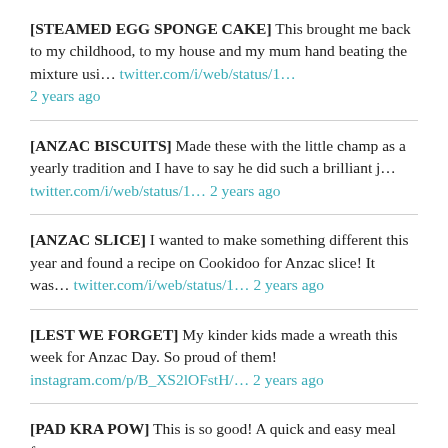[STEAMED EGG SPONGE CAKE] This brought me back to my childhood, to my house and my mum hand beating the mixture usi… twitter.com/i/web/status/1… 2 years ago
[ANZAC BISCUITS] Made these with the little champ as a yearly tradition and I have to say he did such a brilliant j… twitter.com/i/web/status/1… 2 years ago
[ANZAC SLICE] I wanted to make something different this year and found a recipe on Cookidoo for Anzac slice! It was… twitter.com/i/web/status/1… 2 years ago
[LEST WE FORGET] My kinder kids made a wreath this week for Anzac Day. So proud of them! instagram.com/p/B_XS2lOFstH/… 2 years ago
[PAD KRA POW] This is so good! A quick and easy meal f…